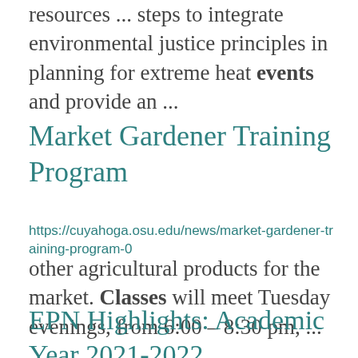resources ... steps to integrate environmental justice principles in planning for extreme heat events and provide an ...
Market Gardener Training Program
https://cuyahoga.osu.edu/news/market-gardener-training-program-0
other agricultural products for the market. Classes will meet Tuesday evenings, from 6:00 – 8:30 pm, ...
EPN Highlights: Academic Year 2021-2022